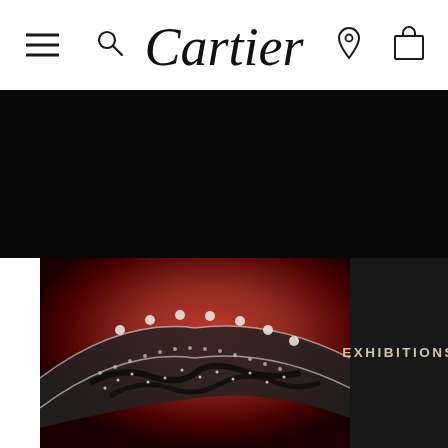Cartier navigation header with hamburger menu, search, logo, location and bag icons
[Figure (screenshot): Cartier website navigation bar with hamburger menu icon on left, search icon, Cartier script logo in center, location pin icon and shopping bag icon on right, on white background]
[Figure (photo): Cartier tiara/diadem with diamonds and pearls on dark red background, partially shown, with EXHIBITIONS text label on dark panel to the right]